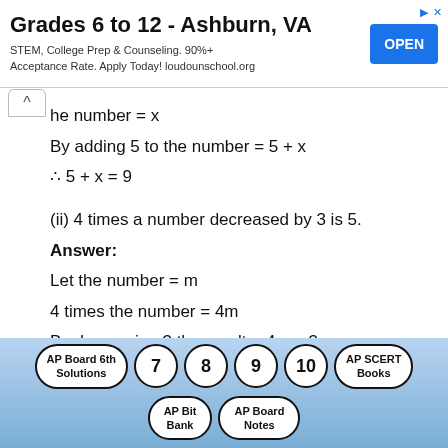[Figure (other): Advertisement banner: Grades 6 to 12 - Ashburn, VA. STEM, College Prep & Counseling. 90%+ Acceptance Rate. Apply Today! loudounschool.org. OPEN button.]
he number = x
By adding 5 to the number = 5 + x
∴ 5 + x = 9
(ii) 4 times a number decreased by 3 is 5.
Answer:
Let the number = m
4 times the number = 4m
By decreasing 3 the result = 4m – 3
∴ 4m – 3 = 5
[Figure (other): Navigation bar with pills and circles: AP Board 6th Solutions, 7, 8, 9, 10, AP SCERT Books, AP Bit Bank, AP Board Notes]